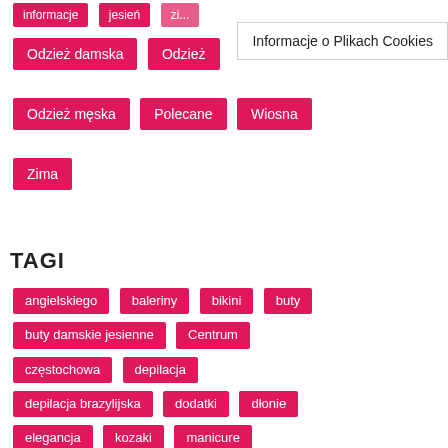informacje | jesień | [partial]
Odzież damska | Odzież [partial]
Odzież męska | Polecane | Wiosna
Zima
Informacje o Plikach Cookies
TAGI
angielskiego | baleriny | bikini | buty
buty damskie jesienne | Centrum
częstochowa | depilacja
depilacja brazylijska | dodatki | dłonie
elegancja | kozaki | manicure
manicure japoński | marynarka damska
moda | moda na jesień | Modne torebki
mokasyny | męskie | nail bar | nauka
obuwie na jesień | online | paznokcie
ponczo | płaszcze damskie 2017 | Redan